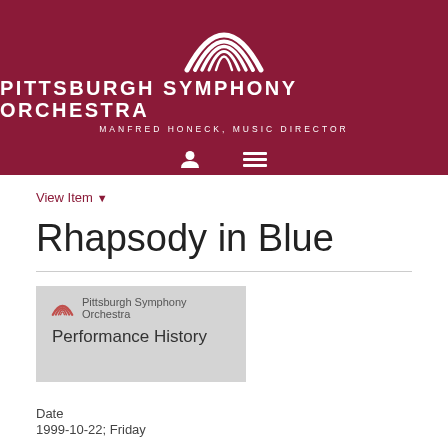[Figure (logo): Pittsburgh Symphony Orchestra logo with rainbow arc and text 'Pittsburgh Symphony Orchestra, Manfred Honeck, Music Director' on dark red background, with user and menu icons below]
View Item ▾
Rhapsody in Blue
[Figure (illustration): Thumbnail image with light gray background showing Pittsburgh Symphony Orchestra logo (small rainbow arc) and text 'Pittsburgh Symphony Orchestra' and 'Performance History']
Date
1999-10-22; Friday
Type of Resource